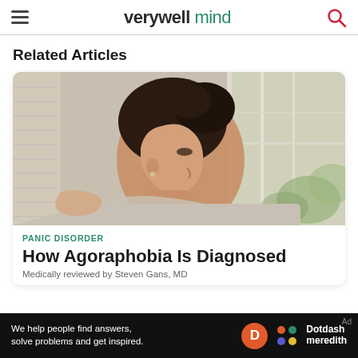verywell mind
Related Articles
[Figure (photo): Woman with dark hair in a bun looking out a window, seen from the side, wearing a light sweater, someone's hand on her shoulder]
PANIC DISORDER
How Agoraphobia Is Diagnosed
Medically reviewed by Steven Gans, MD
[Figure (logo): Dotdash Meredith ad bar — 'We help people find answers, solve problems and get inspired.']